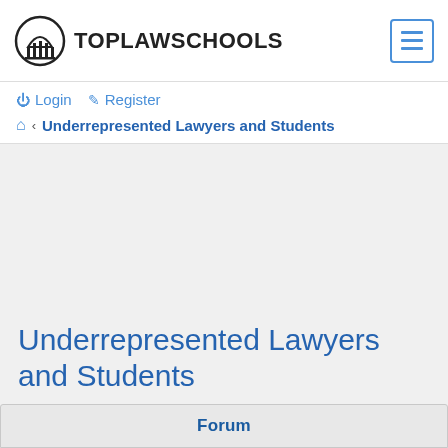TopLawSchools
Login  Register
Underrepresented Lawyers and Students
Underrepresented Lawyers and Students
Forum